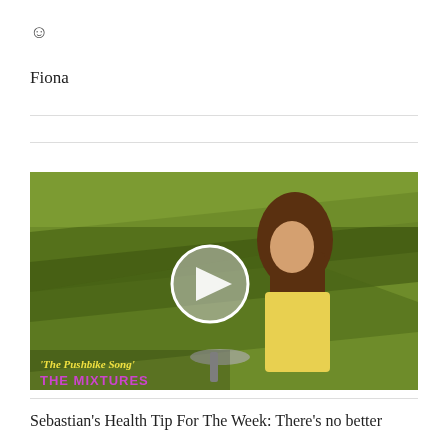☺
Fiona
[Figure (screenshot): Video thumbnail showing a woman on a bicycle in a green outdoor setting, with a play button overlay. Text overlay reads 'The Pushbike Song' and 'THE MIXTURES' in purple/yellow stylized font.]
Sebastian's Health Tip For The Week: There's no better